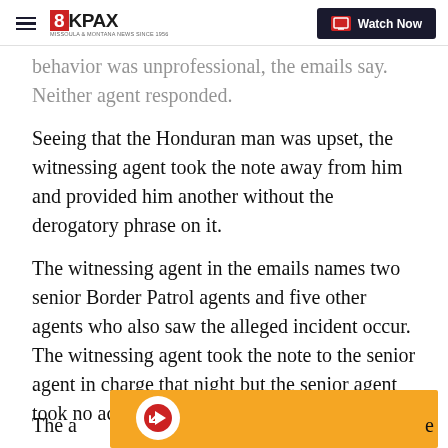8KPAX — Watch Now
behavior was unprofessional, the emails say. Neither agent responded.
Seeing that the Honduran man was upset, the witnessing agent took the note away from him and provided him another without the derogatory phrase on it.
The witnessing agent in the emails names two senior Border Patrol agents and five other agents who also saw the alleged incident occur. The witnessing agent took the note to the senior agent in charge that night but the senior agent took no action, the emails said.
The a [partially obscured] e